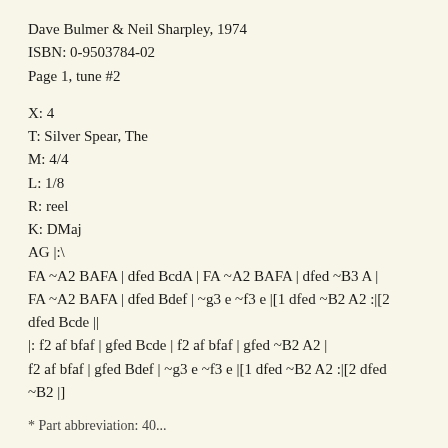Dave Bulmer & Neil Sharpley, 1974
ISBN: 0-9503784-02
Page 1, tune #2
X: 4
T: Silver Spear, The
M: 4/4
L: 1/8
R: reel
K: DMaj
AG |:\
FA ~A2 BAFA | dfed BcdA | FA ~A2 BAFA | dfed ~B3 A |
FA ~A2 BAFA | dfed Bdef | ~g3 e ~f3 e |[1 dfed ~B2 A2 :|[2 dfed Bcde ||
|: f2 af bfaf | gfed Bcde | f2 af bfaf | gfed ~B2 A2 |
f2 af bfaf | gfed Bdef | ~g3 e ~f3 e |[1 dfed ~B2 A2 :|[2 dfed ~B2 |]
* Part abbreviation: 40...